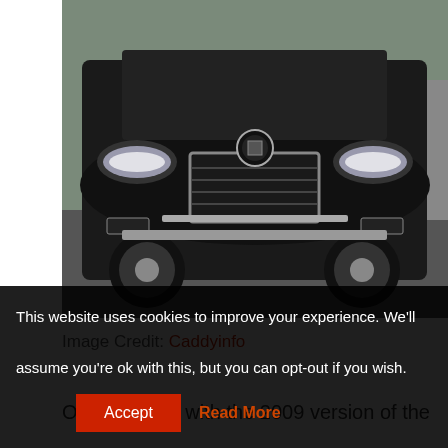[Figure (photo): Front view of a black Cadillac ATS sedan driving on a road, showing the grille, headlights, and front bumper]
Image Credit: Caddyinfo
Our list starts with the 2009 version of the
This website uses cookies to improve your experience. We'll assume you're ok with this, but you can opt-out if you wish.